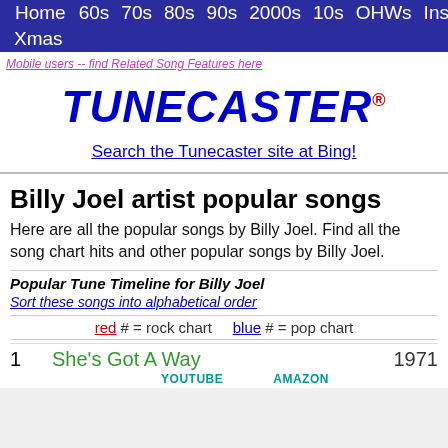Home  60s  70s  80s  90s  2000s  10s  OHWs  Inst  Xmas
Mobile users -- find Related Song Features here
TUNECASTER®
Search the Tunecaster site at Bing!
Billy Joel artist popular songs
Here are all the popular songs by Billy Joel. Find all the song chart hits and other popular songs by Billy Joel.
Popular Tune Timeline for Billy Joel
Sort these songs into alphabetical order
red # = rock chart   blue # = pop chart
1  She's Got A Way  1971  YOUTUBE  AMAZON